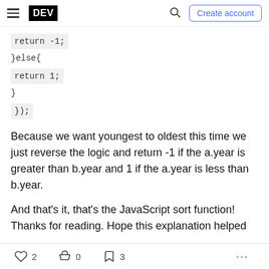DEV | Create account
return -1;
}else{
return 1;
}
});
Because we want youngest to oldest this time we just reverse the logic and return -1 if the a.year is greater than b.year and 1 if the a.year is less than b.year.
And that's it, that's the JavaScript sort function! Thanks for reading. Hope this explanation helped
2  0  3  ...